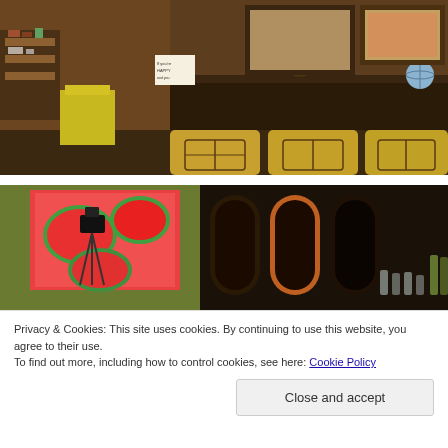[Figure (photo): Interior of an antique or eclectic shop filled with colorful cushions with birdcage prints, shelves of merchandise, framed artwork, and various decorative objects.]
[Figure (photo): Interior of a bar or restaurant with camera equipment, colorful watermelon artwork on wall, arched mirrors, and glassware in the background.]
Privacy & Cookies: This site uses cookies. By continuing to use this website, you agree to their use.
To find out more, including how to control cookies, see here: Cookie Policy
Close and accept